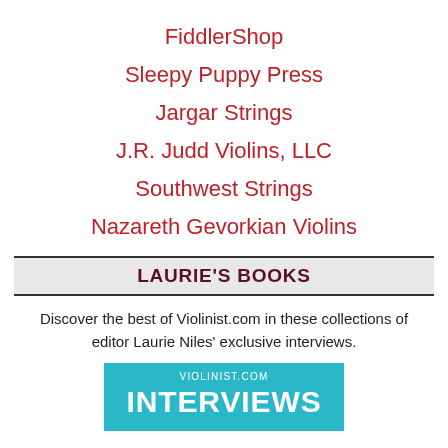FiddlerShop
Sleepy Puppy Press
Jargar Strings
J.R. Judd Violins, LLC
Southwest Strings
Nazareth Gevorkian Violins
LAURIE'S BOOKS
Discover the best of Violinist.com in these collections of editor Laurie Niles' exclusive interviews.
[Figure (illustration): Teal banner with VIOLINIST.COM INTERVIEWS text in white]